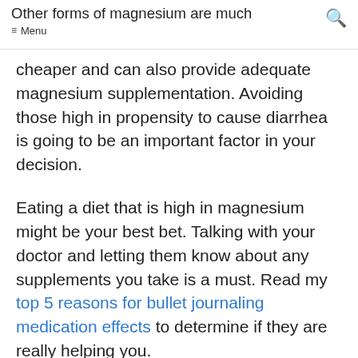Other forms of magnesium are much cheaper and can also provide adequate
≡ Menu
magnesium supplementation. Avoiding those high in propensity to cause diarrhea is going to be an important factor in your decision.
Eating a diet that is high in magnesium might be your best bet. Talking with your doctor and letting them know about any supplements you take is a must. Read my top 5 reasons for bullet journaling medication effects to determine if they are really helping you.